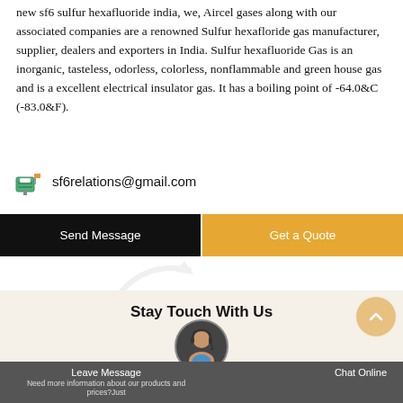new sf6 sulfur hexafluoride india, we, Aircel gases along with our associated companies are a renowned Sulfur hexafloride gas manufacturer, supplier, dealers and exporters in India. Sulfur hexafluoride Gas is an inorganic, tasteless, odorless, colorless, nonflammable and green house gas and is a excellent electrical insulator gas. It has a boiling point of -64.0&C (-83.0&F).
sf6relations@gmail.com
Send Message
Get a Quote
Stay Touch With Us
Leave Message
Chat Online
Need more information about our products and prices?Just